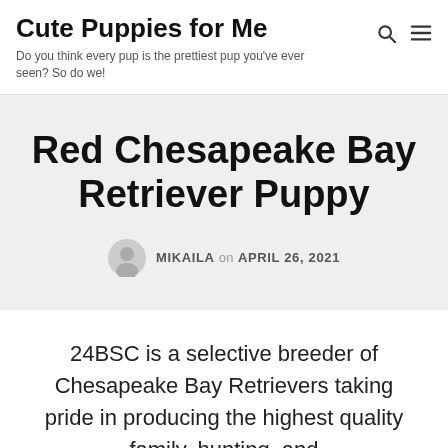Cute Puppies for Me
Do you think every pup is the prettiest pup you've ever seen? So do we!
Red Chesapeake Bay Retriever Puppy
MIKAILA on APRIL 26, 2021
24BSC is a selective breeder of Chesapeake Bay Retrievers taking pride in producing the highest quality family, hunting, and